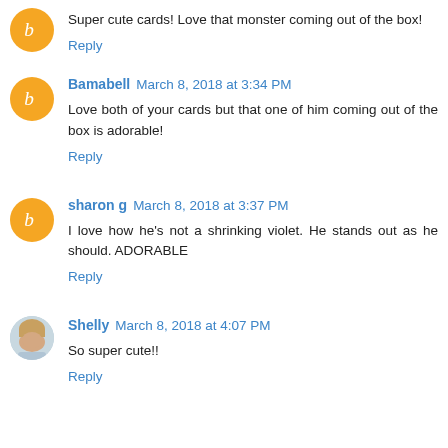Super cute cards! Love that monster coming out of the box!
Reply
Bamabell March 8, 2018 at 3:34 PM
Love both of your cards but that one of him coming out of the box is adorable!
Reply
sharon g March 8, 2018 at 3:37 PM
I love how he's not a shrinking violet. He stands out as he should. ADORABLE
Reply
Shelly March 8, 2018 at 4:07 PM
So super cute!!
Reply